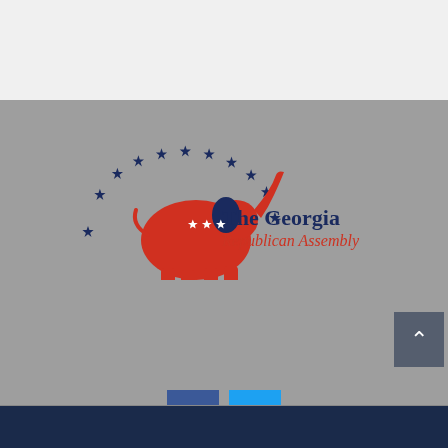[Figure (logo): The Georgia Republican Assembly logo: red elephant with navy stars in an arc, text 'The Georgia Republican Assembly' in navy and red]
[Figure (infographic): Facebook (f) and Twitter (bird) social media icon buttons]
Copyright 2020 Georgia Republican Assembly. All rights reserved.